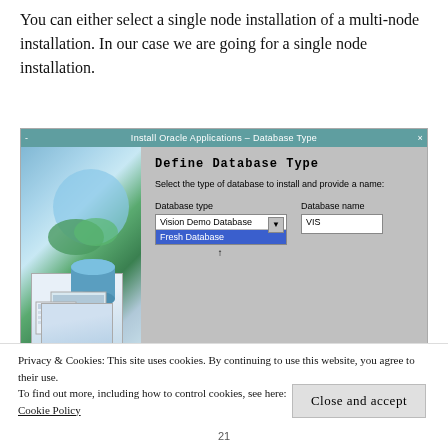You can either select a single node installation of a multi-node installation. In our case we are going for a single node installation.
[Figure (screenshot): Oracle Applications installer dialog — 'Install Oracle Applications - Database Type'. Shows 'Define Database Type' title, a dropdown with 'Vision Demo Database' and highlighted 'Fresh Database' options, and a 'Database name' field with value 'VIS'. Left panel has a blue illustration with server/database imagery.]
Privacy & Cookies: This site uses cookies. By continuing to use this website, you agree to their use.
To find out more, including how to control cookies, see here:
Cookie Policy
Close and accept
21